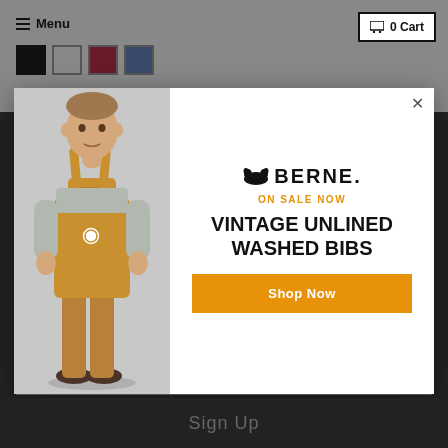≡ Menu   0 Cart
[Figure (screenshot): E-commerce website header with gray background, hamburger menu icon and 'Menu' text on left, cart icon with '0 Cart' button on right, four color swatches (black, gray, maroon, navy) below menu]
[Figure (photo): Man wearing tan/brown bib overalls and gray t-shirt standing against light gray background]
ON SALE NOW
VINTAGE UNLINED WASHED BIBS
Shop Now
Sign Up